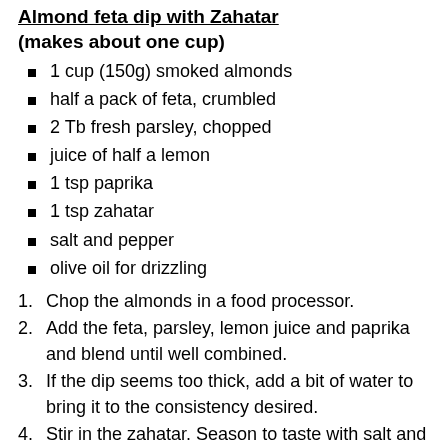Almond feta dip with Zahatar
(makes about one cup)
1 cup (150g) smoked almonds
half a pack of feta, crumbled
2 Tb fresh parsley, chopped
juice of half a lemon
1 tsp paprika
1 tsp zahatar
salt and pepper
olive oil for drizzling
Chop the almonds in a food processor.
Add the feta, parsley, lemon juice and paprika and blend until well combined.
If the dip seems too thick, add a bit of water to bring it to the consistency desired.
Stir in the zahatar. Season to taste with salt and